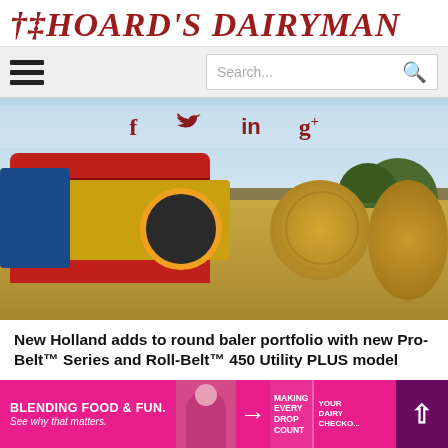Hoard's Dairyman
[Figure (screenshot): Navigation bar with hamburger menu on left and search bar on right]
[Figure (photo): New Holland red round baler with hay bales in a field, with social media icons (f, Twitter bird, in, g+) overlaid in dark red]
New Holland adds to round baler portfolio with new Pro-Belt™ Series and Roll-Belt™ 450 Utility PLUS model
[Figure (infographic): Pink advertisement banner: BLENDING FOOD & FUN. See why that matters. Making Every Drop Count. Your Dairy Checkoff. With scroll-up arrow button.]